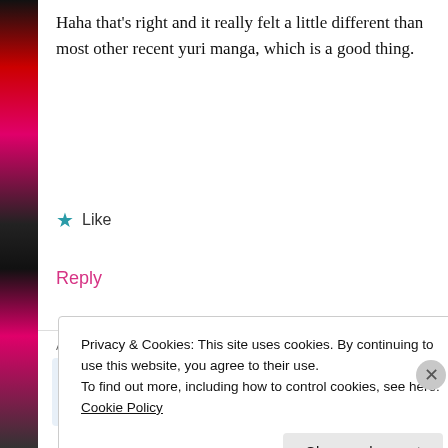Haha that's right and it really felt a little different than most other recent yuri manga, which is a good thing.
★ Like
Reply
Advertisements
[Figure (other): Advertisement banner: 'Build a writing habit. Post on the go.' with GET THE APP button and WordPress logo]
REPORT THIS AD
Privacy & Cookies: This site uses cookies. By continuing to use this website, you agree to their use.
To find out more, including how to control cookies, see here: Cookie Policy
Close and accept